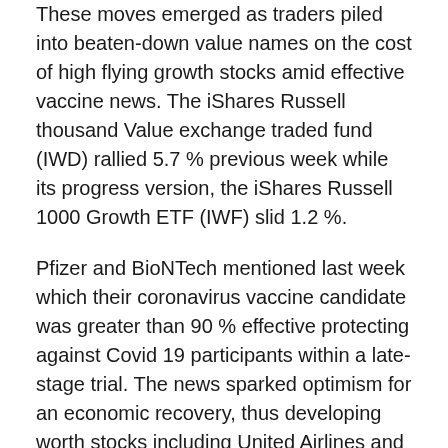These moves emerged as traders piled into beaten-down value names on the cost of high flying growth stocks amid effective vaccine news. The iShares Russell thousand Value exchange traded fund (IWD) rallied 5.7 % previous week while its progress version, the iShares Russell 1000 Growth ETF (IWF) slid 1.2 %.
Pfizer and BioNTech mentioned last week which their coronavirus vaccine candidate was greater than 90 % effective protecting against Covid 19 participants within a late-stage trial. The news sparked optimism for an economic recovery, thus developing worth stocks including United Airlines and Carnival Corp a lot more elegant. Carnival and United rallied 12.4 % along with 15.9 %, respectively, previous week.
“The announcement of a good Covid 19 vaccine by Pfizer/BioNTech previous week was very crucial that we pretty much overlook that there has only been a US